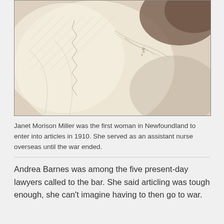[Figure (photo): Sepia-toned historical photograph showing a close-up of a woman's lace dress or blouse with a small pendant necklace visible at the neckline.]
Janet Morison Miller was the first woman in Newfoundland to enter into articles in 1910. She served as an assistant nurse overseas until the war ended.
Andrea Barnes was among the five present-day lawyers called to the bar. She said articling was tough enough, she can't imagine having to then go to war.